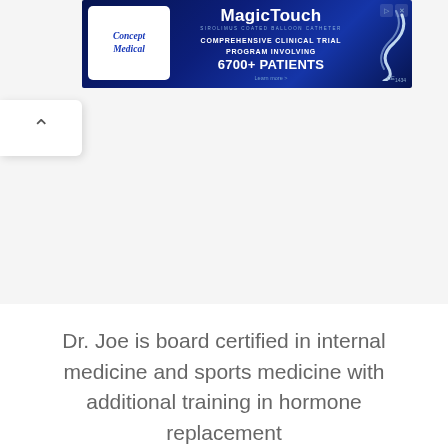[Figure (advertisement): Concept Medical MagicTouch advertisement banner. Dark blue background. Left side shows white rounded rectangle with 'Concept Medical' logo in blue italic serif font. Right side shows 'MagicTouch' in large bold white text, subtitle tagline, text 'COMPREHENSIVE CLINICAL TRIAL PROGRAM INVOLVING 6700+ PATIENTS', a silver swirl graphic, 'Learn more >' link, and CE1434 mark. Top right has ad icons (triangle play and X).]
Dr. Joe is board certified in internal medicine and sports medicine with additional training in hormone replacement